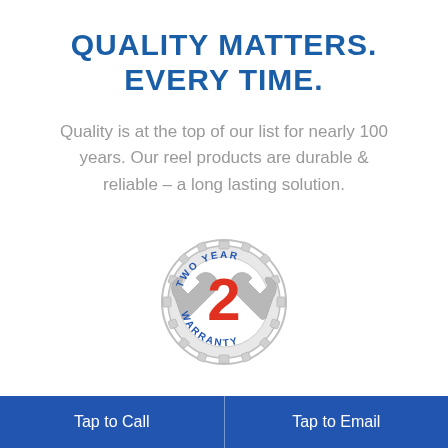QUALITY MATTERS. EVERY TIME.
Quality is at the top of our list for nearly 100 years. Our reel products are durable & reliable – a long lasting solution.
[Figure (logo): Two Year Warranty badge with gear/wrench graphic and large red number 2 in the center, text reading TWO YEAR WARRANTY around the edge]
CONFIDENCE WITH LONGEVITY.
Tap to Call    Tap to Email